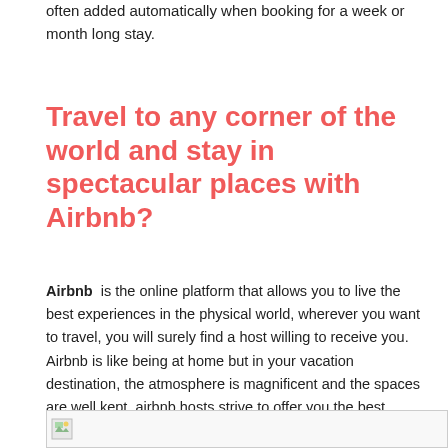often added automatically when booking for a week or month long stay.
Travel to any corner of the world and stay in spectacular places with Airbnb?
Airbnb is the online platform that allows you to live the best experiences in the physical world, wherever you want to travel, you will surely find a host willing to receive you. Airbnb is like being at home but in your vacation destination, the atmosphere is magnificent and the spaces are well kept, airbnb hosts strive to offer you the best accommodations. Using the Lye Airbnb coupon you can lower the price of your reservation or receive greater benefits, take advantage of the best discounts.
[Figure (other): Small image icon/thumbnail at bottom of page]